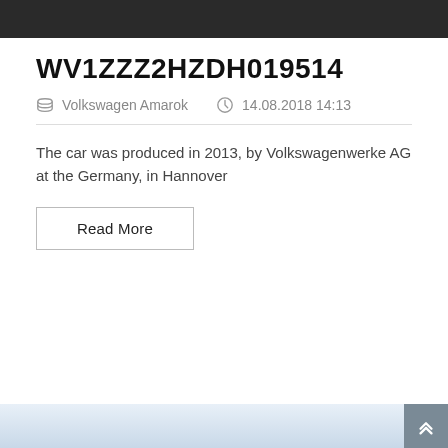[Figure (photo): Dark banner image at top of page]
WV1ZZZ2HZDH019514
Volkswagen Amarok   14.08.2018 14:13
The car was produced in 2013, by Volkswagenwerke AG at the Germany, in Hannover
Read More
[Figure (photo): Partial car image at bottom of page]